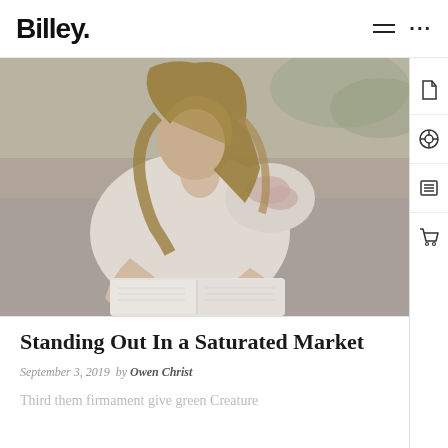Billey.
[Figure (photo): A young woman with long brown-blonde hair sitting outdoors, reading an open book. She wears a cream/white knit sweater with a floral detail on the shoulder. She is looking down at the book. Background shows a muted outdoor/nature setting.]
Standing Out In a Saturated Market
September 3, 2019  by Owen Christ
Third them firmament give green Creature